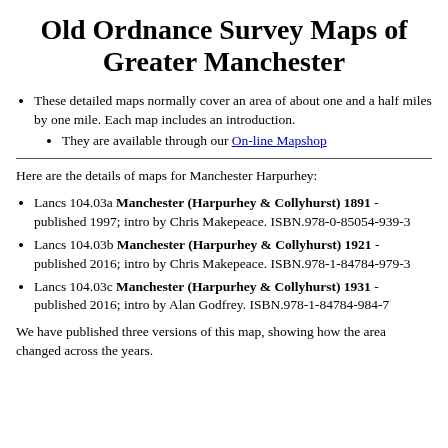Old Ordnance Survey Maps of Greater Manchester
These detailed maps normally cover an area of about one and a half miles by one mile. Each map includes an introduction.
They are available through our On-line Mapshop
Here are the details of maps for Manchester Harpurhey:
Lancs 104.03a Manchester (Harpurhey & Collyhurst) 1891 - published 1997; intro by Chris Makepeace. ISBN.978-0-85054-939-3
Lancs 104.03b Manchester (Harpurhey & Collyhurst) 1921 - published 2016; intro by Chris Makepeace. ISBN.978-1-84784-979-3
Lancs 104.03c Manchester (Harpurhey & Collyhurst) 1931 - published 2016; intro by Alan Godfrey. ISBN.978-1-84784-984-7
We have published three versions of this map, showing how the area changed across the years.